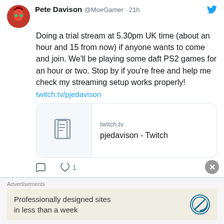Pete Davison @MoeGamer · 21h
Doing a trial stream at 5.30pm UK time (about an hour and 15 from now) if anyone wants to come and join. We'll be playing some daft PS2 games for an hour or two. Stop by if you're free and help me check my streaming setup works properly!
twitch.tv/pjedavison
[Figure (screenshot): Link preview card for twitch.tv showing document icon and text 'pjedavison - Twitch']
♡ 1
Pete Davison Retweeted
Dee Guevara @MattSainsb · Aug 27
Weekly newsletter! All DDNet's coverage, as well
Advertisements
Professionally designed sites in less than a week